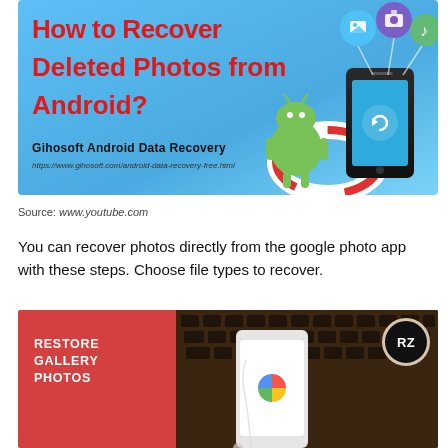[Figure (infographic): Promotional banner for Gihosoft Android Data Recovery. Blue gradient background with Android mascot, smartphone with data recovery icon, and media file icons. Red bold title text: 'How to Recover Deleted Photos from Android?'. Brand name and URL shown.]
Source: www.youtube.com
You can recover photos directly from the google photo app with these steps. Choose file types to recover.
[Figure (photo): Photo showing a smartphone with Google Photos app, placed on a laptop keyboard with earphones. Left panel is red with white bold text: 'RESTORE GALLERY PHOTOS'. A black circular RZ badge logo is in the top right corner.]